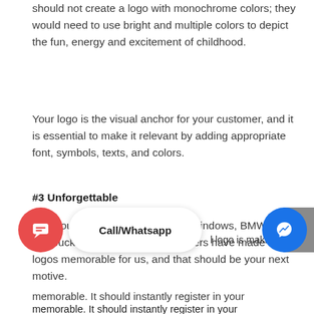should not create a logo with monochrome colors; they would need to use bright and multiple colors to depict the fun, energy and excitement of childhood.
Your logo is the visual anchor for your customer, and it is essential to make it relevant by adding appropriate font, symbols, texts, and colors.
#3 Unforgettable
Can you ever forget the logos of Windows, BMW or Starbucks? No, right? The designers have made these logos memorable for us, and that should be your next motive.
a  Call/Whatsapp  l logo is making the memorable. It should instantly register in your